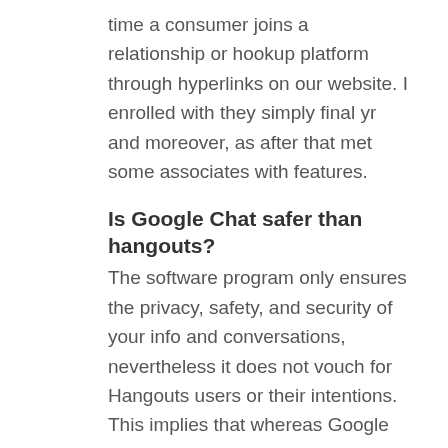time a consumer joins a relationship or hookup platform through hyperlinks on our website. I enrolled with they simply final yr and moreover, as after that met some associates with features.
Is Google Chat safer than hangouts?
The software program only ensures the privacy, safety, and security of your info and conversations, nevertheless it does not vouch for Hangouts users or their intentions. This implies that whereas Google won't expose you to unnecessary risks, you have to take extra steps to guard your account. All you do is register and begin chatting, it's so easy as that. You can even achieve this by means of your Google or Facebook account, and velocity up the whole course of moreover. As this platform doesn't have the choice to create a profile, the primary accent is certainly on chatting with folks. We joined the app final 12 months in addition to have beforehand came across my private special someone